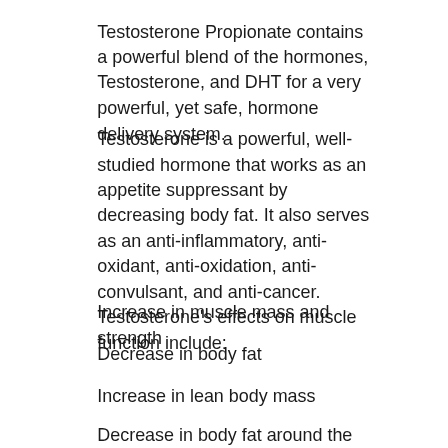Testosterone Propionate contains a powerful blend of the hormones, Testosterone, and DHT for a very powerful, yet safe, hormone delivery system.
Testosterone is a powerful, well-studied hormone that works as an appetite suppressant by decreasing body fat. It also serves as an anti-inflammatory, anti-oxidant, anti-oxidation, anti-convulsant, and anti-cancer. Testosterone's effects on muscle function include:
Increase in muscle mass and strength
Decrease in body fat
Increase in lean body mass
Decrease in body fat around the face